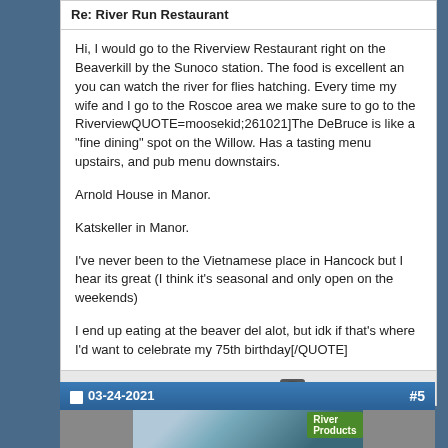Re: River Run Restaurant
Hi, I would go to the Riverview Restaurant right on the Beaverkill by the Sunoco station. The food is excellent an you can watch the river for flies hatching. Every time my wife and I go to the Roscoe area we make sure to go to the RiverviewQUOTE=moosekid;261021]The DeBruce is like a "fine dining" spot on the Willow. Has a tasting menu upstairs, and pub menu downstairs.
Arnold House in Manor.
Katskeller in Manor.
I've never been to the Vietnamese place in Hancock but I hear its great (I think it's seasonal and only open on the weekends)
I end up eating at the beaver del alot, but idk if that's where I'd want to celebrate my 75th birthday[/QUOTE]
Reply With Quote
03-24-2021   #5
[Figure (photo): Partial view of a photo showing what appears to be a fishing-related scene with a green labeled bottle or product]